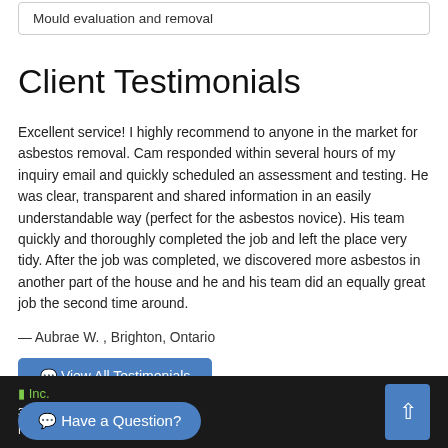Mould evaluation and removal
Client Testimonials
Excellent service! I highly recommend to anyone in the market for asbestos removal. Cam responded within several hours of my inquiry email and quickly scheduled an assessment and testing. He was clear, transparent and shared information in an easily understandable way (perfect for the asbestos novice). His team quickly and thoroughly completed the job and left the place very tidy. After the job was completed, we discovered more asbestos in another part of the house and he and his team did an equally great job the second time around.
— Aubrae W. , Brighton, Ontario
View All Testimonials
Have a Question? [company] Inc.
331 Beechwood Road
Nanaimo, ON, K7R 3L1